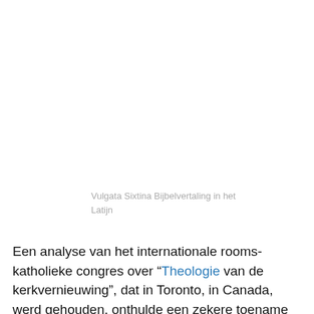Vulgata Sixtina Bijbelvertaling in het Latijn
Een analyse van het internationale rooms-katholieke congres over “Theologie van de kerkvernieuwing”, dat in Toronto, in Canada, werd gehouden, onthulde een zekere toename in Bijbelse belangstelling, maar een veel grotere belangstelling voor existentiële filosofie. Een speciaal